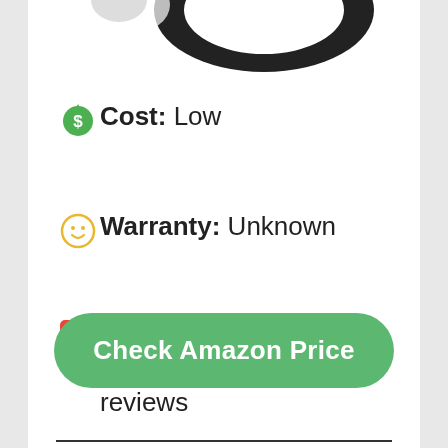[Figure (photo): Partial product image at top – black circular/ring shaped object cropped at top of page]
Cost: Low
Warranty: Unknown
# Reviews: Over 1300 Amazon reviews
Check Amazon Price